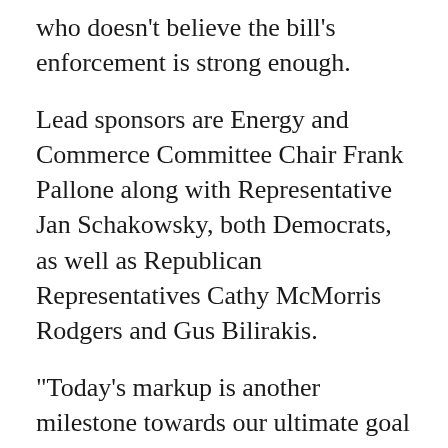who doesn't believe the bill's enforcement is strong enough.
Lead sponsors are Energy and Commerce Committee Chair Frank Pallone along with Representative Jan Schakowsky, both Democrats, as well as Republican Representatives Cathy McMorris Rodgers and Gus Bilirakis.
“Today’s markup is another milestone towards our ultimate goal of enacting meaningful national privacy legislation,” said Pallone.
#Facebook
[Figure (other): Social media sharing buttons: Facebook (blue), Twitter (light blue), Reddit (orange), Email (dark gray)]